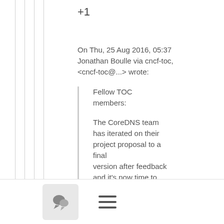+1
On Thu, 25 Aug 2016, 05:37 Jonathan Boulle via cncf-toc, <cncf-toc@...> wrote:
Fellow TOC members:

The CoreDNS team has iterated on their project proposal to a final version after feedback and it's now time to vote.

Proposal is available...